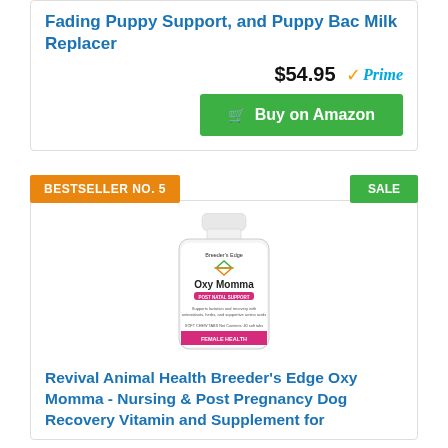Fading Puppy Support, and Puppy Bac Milk Replacer
$54.95 Prime
Buy on Amazon
BESTSELLER NO. 5
SALE
[Figure (photo): Bottle of Breeder's Edge Oxy Momma supplement for dogs]
Revival Animal Health Breeder's Edge Oxy Momma - Nursing & Post Pregnancy Dog Recovery Vitamin and Supplement for